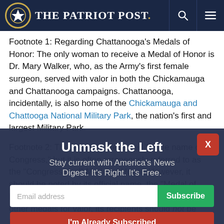The Patriot Post
Footnote 1: Regarding Chattanooga's Medals of Honor: The only woman to receive a Medal of Honor is Dr. Mary Walker, who, as the Army's first female surgeon, served with valor in both the Chickamauga and Chattanooga campaigns. Chattanooga, incidentally, is also home of the Chickamauga and Chattooga National Military Park, the nation's first and largest Military Park.
Footnote 2: The Medal is presented "in the name of Congress," but it is often erroneously referred to as the "Congressional" Medal of Honor. However, it should be noted by its official name, the "Medal of Honor." The MoH is earned, never "won," so, as with other medals for valor, its recipients should not be referred to as "winners." To read more about the Valor medals, click here. For
[Figure (infographic): Popup overlay: 'Unmask the Left' newsletter subscription widget with email input, Subscribe button, and 'I'm Already Subscribed' button. Close button (X) in red top right.]